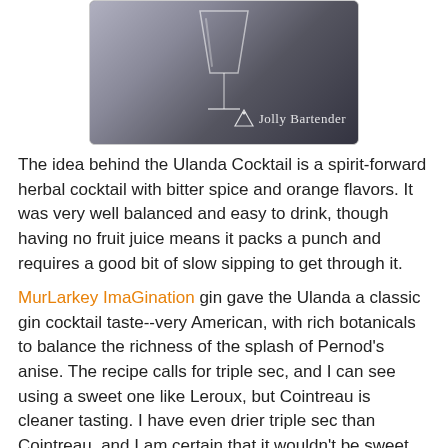[Figure (photo): A cocktail glass (martini-style) on a dark granite bar surface, with 'The Jolly Bartender' watermark logo in the lower right corner of the photo.]
The idea behind the Ulanda Cocktail is a spirit-forward herbal cocktail with bitter spice and orange flavors. It was very well balanced and easy to drink, though having no fruit juice means it packs a punch and requires a good bit of slow sipping to get through it.
MurLarkey ImaGination gin gave the Ulanda a classic gin cocktail taste--very American, with rich botanicals to balance the richness of the splash of Pernod's anise. The recipe calls for triple sec, and I can see using a sweet one like Leroux, but Cointreau is cleaner tasting. I have even drier triple sec than Cointreau, and I am certain that it wouldn't be sweet enough to carry the drink off.
2 oz. gin (MurLarkey ImaGination used)
1 oz. triple sec (Cointreau used)